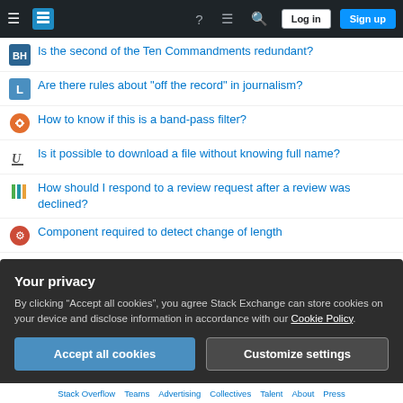Stack Exchange navigation bar with Log in and Sign up buttons
Is the second of the Ten Commandments redundant?
Are there rules about "off the record" in journalism?
How to know if this is a band-pass filter?
Is it possible to download a file without knowing full name?
How should I respond to a review request after a review was declined?
Component required to detect change of length
What's the cheapest way of paying by card abroad?
I want to cook brown and white rice together
Your privacy
By clicking “Accept all cookies”, you agree Stack Exchange can store cookies on your device and disclose information in accordance with our Cookie Policy.
Accept all cookies | Customize settings
Stack Overflow   Teams   Advertising   Collectives   Talent   About   Press